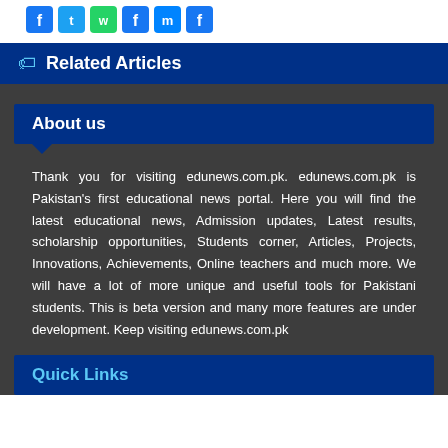[Figure (other): Row of social media share icons: Facebook, Twitter, WhatsApp, Facebook, Messenger, Facebook-like]
Related Articles
About us
Thank you for visiting edunews.com.pk. edunews.com.pk is Pakistan's first educational news portal. Here you will find the latest educational news, Admission updates, Latest results, scholarship opportunities, Students corner, Articles, Projects, Innovations, Achievements, Online teachers and much more. We will have a lot of more unique and useful tools for Pakistani students. This is beta version and many more features are under development. Keep visiting edunews.com.pk
Quick Links